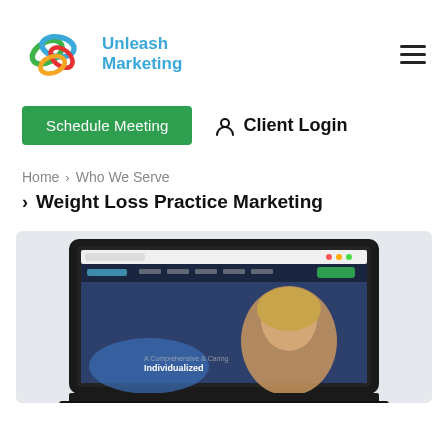[Figure (logo): Unleash Marketing logo with colorful interlinked loops and blue text]
Schedule Meeting
Client Login
Home > Who We Serve
> Weight Loss Practice Marketing
[Figure (screenshot): Laptop displaying a website with a woman's face and the word 'Individualized']